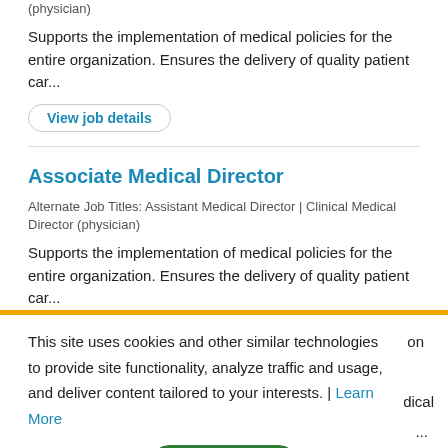(physician)
Supports the implementation of medical policies for the entire organization. Ensures the delivery of quality patient car...
View job details
Associate Medical Director
Alternate Job Titles: Assistant Medical Director | Clinical Medical Director (physician)
Supports the implementation of medical policies for the entire organization. Ensures the delivery of quality patient car...
View job details
This site uses cookies and other similar technologies to provide site functionality, analyze traffic and usage, and deliver content tailored to your interests. | Learn More
on
dical
...
I Accept